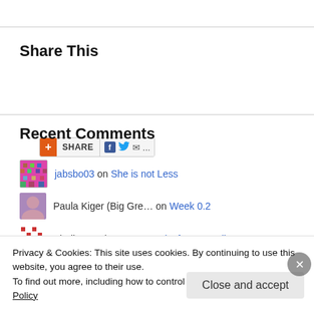Share This
[Figure (screenshot): AddThis share button widget with plus icon, SHARE label, Facebook icon, Twitter bird icon, email icon, and ellipsis]
Recent Comments
jabsbo03 on She is not Less
Paula Kiger (Big Gre… on Week 0.2
Sheila Reed on 26.2 Weeks for 26.2 Miles
purduematt on Zero
Ivan on Searching for Patterns
Privacy & Cookies: This site uses cookies. By continuing to use this website, you agree to their use. To find out more, including how to control cookies, see here: Cookie Policy
Close and accept